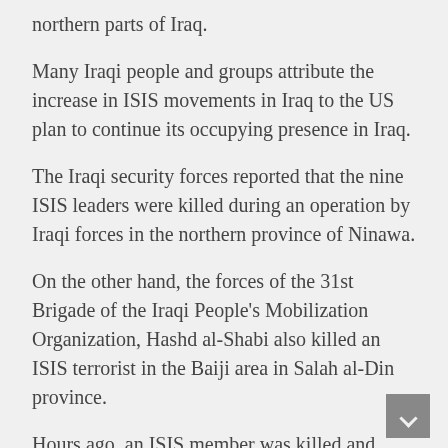northern parts of Iraq.
Many Iraqi people and groups attribute the increase in ISIS movements in Iraq to the US plan to continue its occupying presence in Iraq.
The Iraqi security forces reported that the nine ISIS leaders were killed during an operation by Iraqi forces in the northern province of Ninawa.
On the other hand, the forces of the 31st Brigade of the Iraqi People's Mobilization Organization, Hashd al-Shabi also killed an ISIS terrorist in the Baiji area in Salah al-Din province.
Hours ago, an ISIS member was killed and eight others were arrested during an attack by Iraqi forces on an ISIS terrorist base in the northern Iraqi province of Kirkuk.
Despite the defeat of the ISIS terrorist group in Iraq